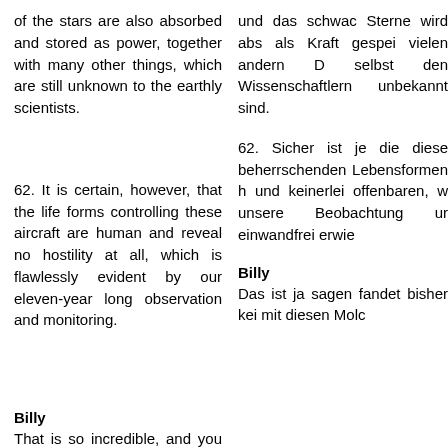of the stars are also absorbed and stored as power, together with many other things, which are still unknown to the earthly scientists.
und das schwac Sterne wird abs als Kraft gespei vielen andern D selbst den Wissenschaftlern unbekannt sind.
62. It is certain, however, that the life forms controlling these aircraft are human and reveal no hostility at all, which is flawlessly evident by our eleven-year long observation and monitoring.
62. Sicher ist je die diese beherrschenden Lebensformen h und keinerlei offenbaren, w unsere Beobachtung ur einwandfrei erwie
Billy
Billy
That is so incredible, and you have until now found no means of getting in contact with these newts?
Das ist ja sagen fandet bisher kei mit diesen Molc